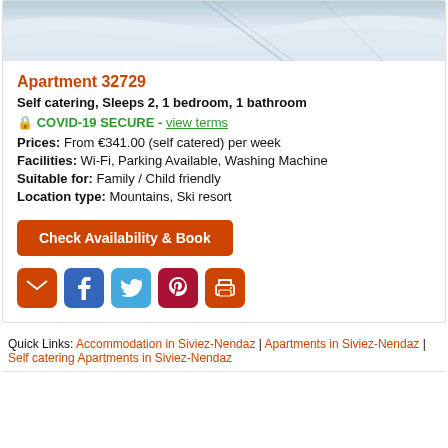[Figure (photo): Snow-covered ski slope viewed from above, with ski tracks visible on white snow]
Apartment 32729
Self catering, Sleeps 2, 1 bedroom, 1 bathroom
🔒 COVID-19 SECURE - view terms
Prices: From €341.00 (self catered) per week
Facilities: Wi-Fi, Parking Available, Washing Machine
Suitable for: Family / Child friendly
Location type: Mountains, Ski resort
[Figure (other): Social sharing icons: email, Facebook, Twitter, Pinterest, Print]
Quick Links: Accommodation in Siviez-Nendaz | Apartments in Siviez-Nendaz | Self catering Apartments in Siviez-Nendaz